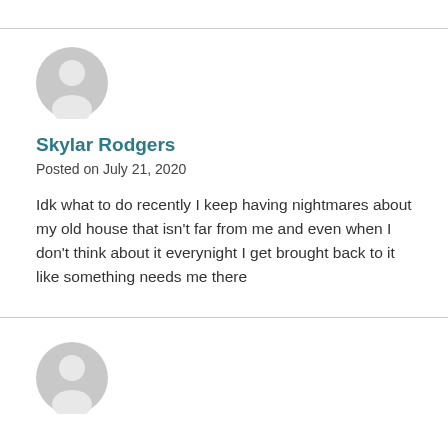[Figure (illustration): Generic gray user avatar icon (circle head and shoulders silhouette)]
Skylar Rodgers
Posted on July 21, 2020
Idk what to do recently I keep having nightmares about my old house that isn't far from me and even when I don't think about it everynight I get brought back to it like something needs me there
[Figure (illustration): Generic gray user avatar icon (circle head and shoulders silhouette), partially visible at bottom]